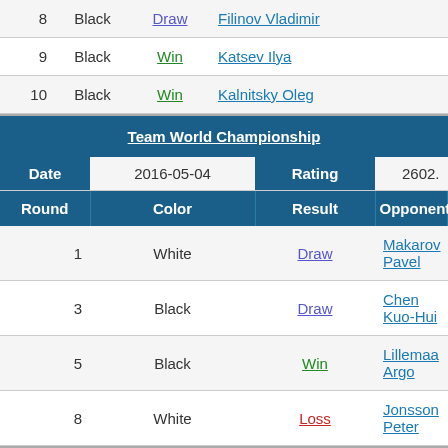| # | Color | Result | Opponent | Rating |
| --- | --- | --- | --- | --- |
| 8 | Black | Draw | Filinov Vladimir | 2441. |
| 9 | Black | Win | Katsev Ilya | 2303. |
| 10 | Black | Win | Kalnitsky Oleg | 2108. |
Team World Championship
| Date | 2016-05-04 | Rating | 2602. |
| --- | --- | --- | --- |
| Round | Color | Result | Opponent |  |
| 1 | White | Draw | Makarov Pavel | 2560. |
| 3 | Black | Draw | Chen Kuo-Hui | 2135. |
| 5 | Black | Win | Lillemaa Argo | 2212. |
| 8 | White | Loss | Jonsson Peter | 2339. |
Window to Europe - 2016
| Date | 2016-04-26 | Rating | 2603. |
| --- | --- | --- | --- |
| Round | Color | Result | Opponent |  |